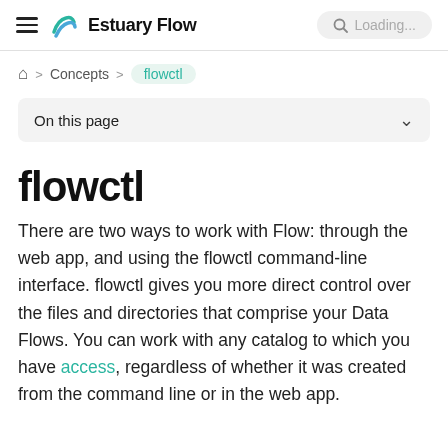Estuary Flow — Loading...
Home > Concepts > flowctl
On this page
flowctl
There are two ways to work with Flow: through the web app, and using the flowctl command-line interface. flowctl gives you more direct control over the files and directories that comprise your Data Flows. You can work with any catalog to which you have access, regardless of whether it was created from the command line or in the web app.